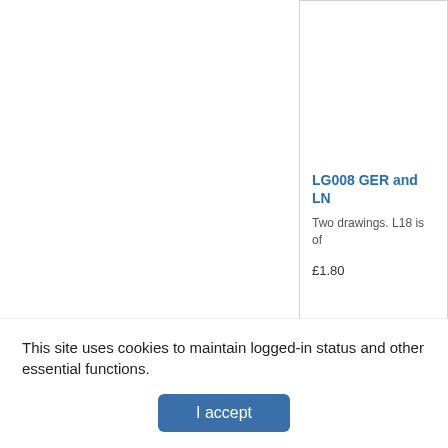LG008 GER and LN
Two drawings. L18 is of
£1.80
This site uses cookies to maintain logged-in status and other essential functions.
I accept